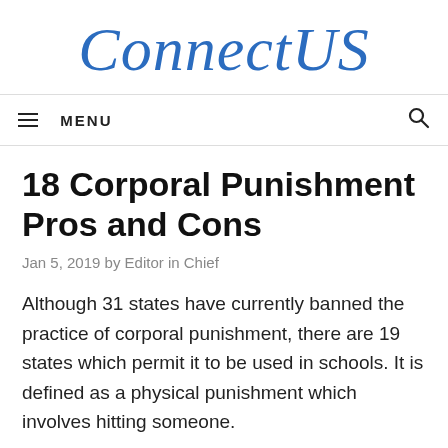ConnectUS
18 Corporal Punishment Pros and Cons
Jan 5, 2019 by Editor in Chief
Although 31 states have currently banned the practice of corporal punishment, there are 19 states which permit it to be used in schools. It is defined as a physical punishment which involves hitting someone.